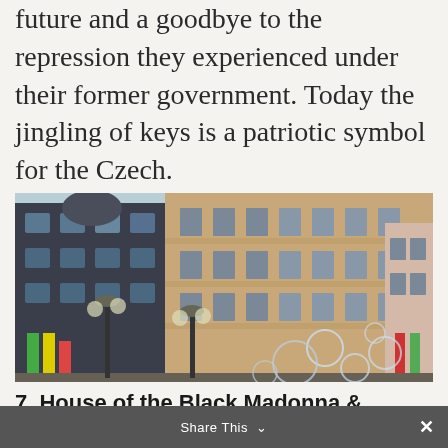future and a goodbye to the repression they experienced under their former government. Today the jingling of keys is a patriotic symbol for the Czech.
[Figure (photo): Street scene of historic European buildings in Prague, with ornate facades, multiple stories, colorful banners, lamp posts, and soap bubbles floating in the foreground.]
7. House of the Black Madonna & Museum of Cubism